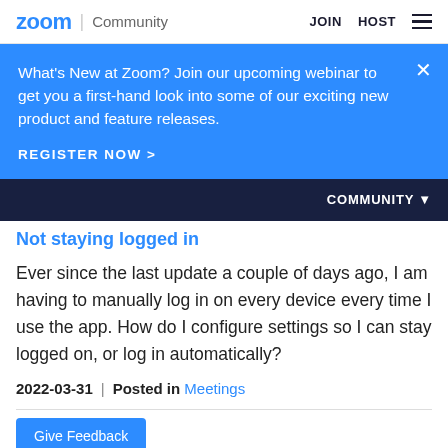zoom | Community   JOIN   HOST
What's New at Zoom? Join our upcoming webinar to get you a first-hand look into some of our exciting new product and feature releases.
REGISTER NOW >
COMMUNITY ▾
Not staying logged in
Ever since the last update a couple of days ago, I am having to manually log in on every device every time I use the app. How do I configure settings so I can stay logged on, or log in automatically?
2022-03-31  |  Posted in Meetings
Give Feedback